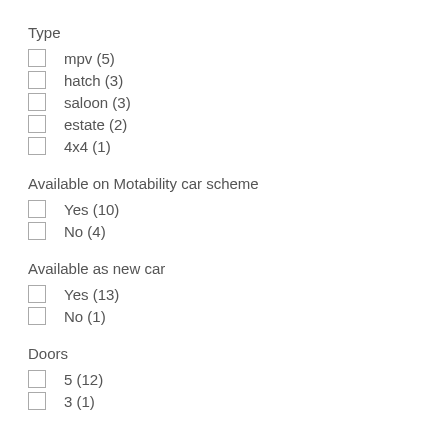Type
mpv (5)
hatch (3)
saloon (3)
estate (2)
4x4 (1)
Available on Motability car scheme
Yes (10)
No (4)
Available as new car
Yes (13)
No (1)
Doors
5 (12)
3 (1)